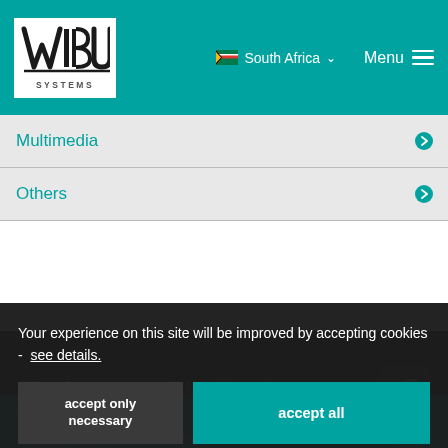WIBU SYSTEMS – South Africa – Menu
Multimedia
Others
Your experience on this site will be improved by accepting cookies - see details.
accept only necessary | accept all
WIBU SYSTEMS – CodeSeal and Licensing Systems (Pty) Ltd – L2 Centurion Business Park